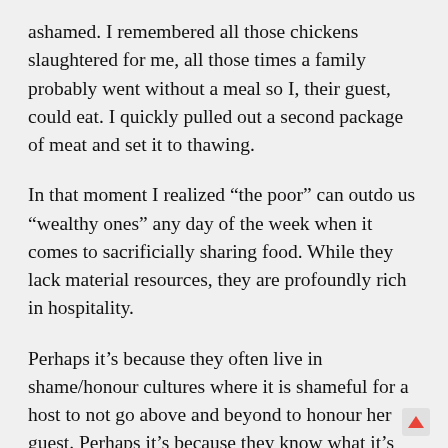ashamed. I remembered all those chickens slaughtered for me, all those times a family probably went without a meal so I, their guest, could eat. I quickly pulled out a second package of meat and set it to thawing.
In that moment I realized “the poor” can outdo us “wealthy ones” any day of the week when it comes to sacrificially sharing food. While they lack material resources, they are profoundly rich in hospitality.
Perhaps it’s because they often live in shame/honour cultures where it is shameful for a host to not go above and beyond to honour her guest. Perhaps it’s because they know what it’s like to be completely dependent on the compassion of others for survival in a harsh environment. Or, perhaps it’s because their own experience of the awful, gnawing reality of true hunger means they don’t